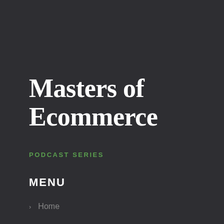Masters of Ecommerce
PODCAST SERIES
MENU
> Home